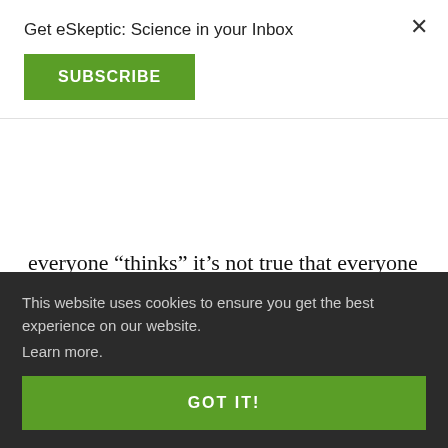Get eSkeptic: Science in your Inbox
SUBSCRIBE
everyone “thinks” it’s not true that everyone “thinks well.” At the core of this class is the idea that we can all fall prey to bad thinking strategies. In this course, students will learn how to be critical thinkers when dealing with a variety of situations, as well as learn how to tell the difference between science and
on how to master the ply these g he able to
This website uses cookies to ensure you get the best experience on our website. Learn more.
GOT IT!